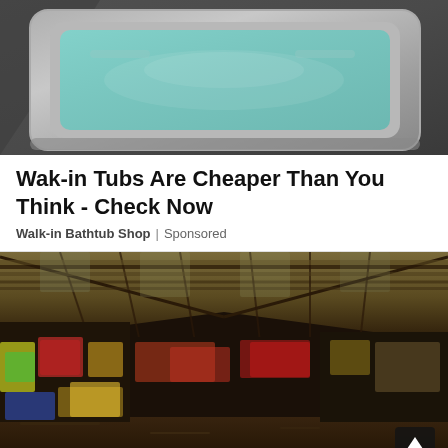[Figure (photo): Walk-in bathtub filled with water, viewed from above at an angle, with a silver/grey frame against a dark grey background]
Wak-in Tubs Are Cheaper Than You Think - Check Now
Walk-in Bathtub Shop | Sponsored
[Figure (photo): Interior of an abandoned warehouse/industrial building covered in graffiti, with a deteriorated roof structure, debris on the floor, and colorful graffiti on walls. Photo credit: © Abandoned NYC by Will Ellis]